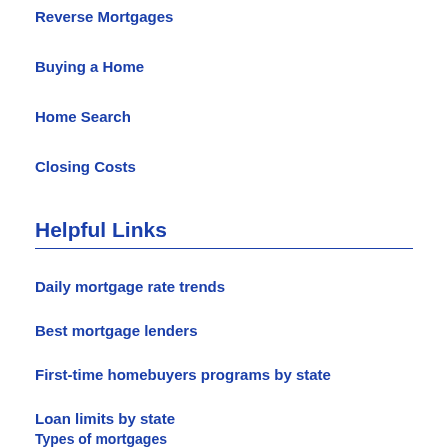Reverse Mortgages
Buying a Home
Home Search
Closing Costs
Helpful Links
Daily mortgage rate trends
Best mortgage lenders
First-time homebuyers programs by state
Loan limits by state
Types of mortgages